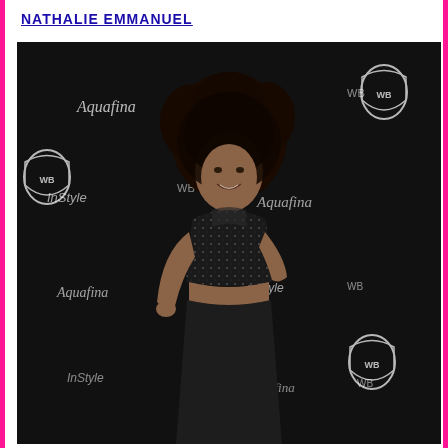NATHALIE EMMANUEL
[Figure (photo): Nathalie Emmanuel posing at an InStyle and Warner Bros. Golden Globes after-party, wearing a black sparkly two-piece outfit with crop top and long skirt, standing in front of a step-and-repeat banner featuring Aquafina and InStyle logos and WB shield logos]